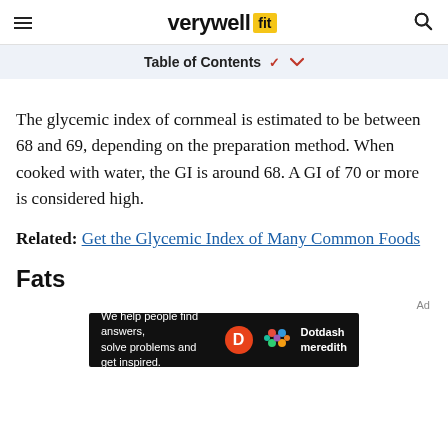verywell fit
Table of Contents
The glycemic index of cornmeal is estimated to be between 68 and 69, depending on the preparation method. When cooked with water, the GI is around 68. A GI of 70 or more is considered high.
Related: Get the Glycemic Index of Many Common Foods
Fats
[Figure (other): Dotdash Meredith advertisement banner: 'We help people find answers, solve problems and get inspired.']